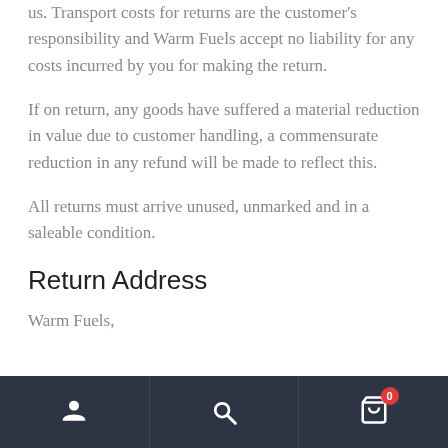us. Transport costs for returns are the customer's responsibility and Warm Fuels accept no liability for any costs incurred by you for making the return.
If on return, any goods have suffered a material reduction in value due to customer handling, a commensurate reduction in any refund will be made to reflect this.
All returns must arrive unused, unmarked and in a saleable condition.
Return Address
Warm Fuels,